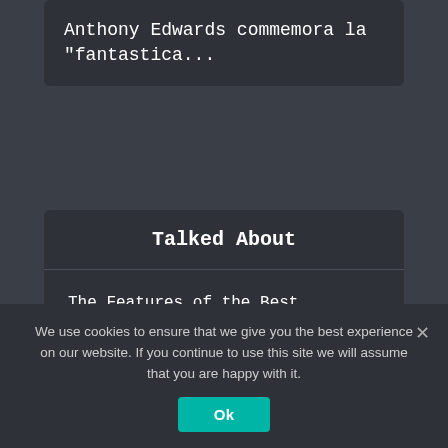Anthony Edwards commemora la "fantastica...
Talked About
The Features of the Best Ergonomic Keyboard
Stunning Health Benefits of Eating Chocolates
We use cookies to ensure that we give you the best experience on our website. If you continue to use this site we will assume that you are happy with it.